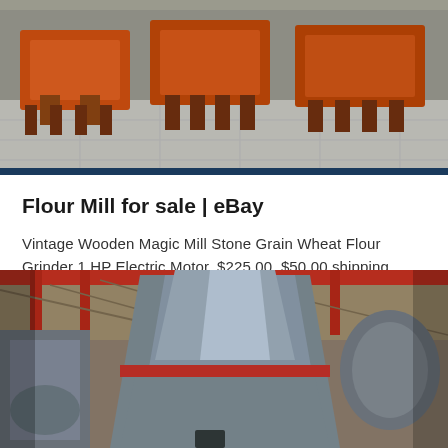[Figure (photo): Industrial flour mill machines with orange/red metal frames on a factory floor, viewed from slightly above.]
Flour Mill for sale | eBay
Vintage Wooden Magic Mill Stone Grain Wheat Flour Grinder 1 HP Electric Motor. $225.00. $50.00 shipping. KoMo Classic Grain Mill/Flour Grinder, Beechwood. Brand...
[Figure (photo): Large industrial grain mill machinery with grey metal conical/cylindrical components and red accents inside a factory with red structural beams and a complex ceiling structure.]